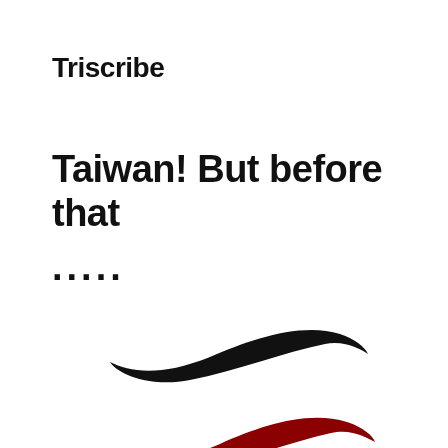Triscribe
Taiwan! But before that
.....
[Figure (illustration): A black brush stroke shape resembling a swoosh or feather, angled slightly upward to the right, positioned in the lower-center of the page.]
[Figure (illustration): A dark red/crimson brush stroke shape resembling a swoosh or feather, angled slightly upward to the right, positioned below the black brush stroke in the lower-center of the page.]